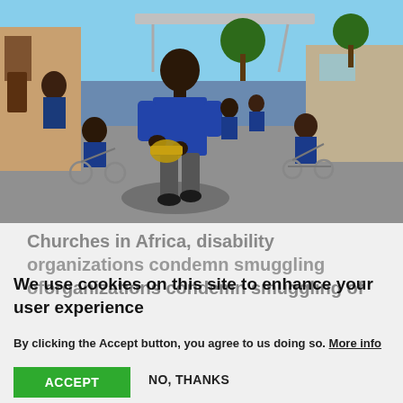[Figure (photo): A young African boy in a blue school uniform holding a horn/trumpet, walking in a courtyard. Behind him are several people in wheelchairs also wearing blue uniforms. Buildings and trees are visible in the background.]
Churches in Africa, disability organizations condemn smuggling of
We use cookies on this site to enhance your user experience
By clicking the Accept button, you agree to us doing so. More info
ACCEPT
NO, THANKS